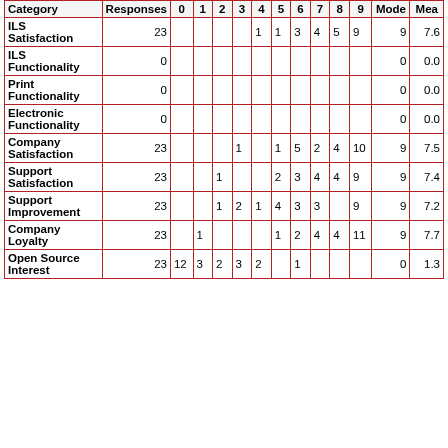| Category | Responses | 0 | 1 | 2 | 3 | 4 | 5 | 6 | 7 | 8 | 9 | Mode | Mea |
| --- | --- | --- | --- | --- | --- | --- | --- | --- | --- | --- | --- | --- | --- |
| ILS Satisfaction | 23 |  |  |  |  | 1 | 1 | 3 | 4 | 5 | 9 | 9 | 7.6 |
| ILS Functionality | 0 |  |  |  |  |  |  |  |  |  |  | 0 | 0.0 |
| Print Functionality | 0 |  |  |  |  |  |  |  |  |  |  | 0 | 0.0 |
| Electronic Functionality | 0 |  |  |  |  |  |  |  |  |  |  | 0 | 0.0 |
| Company Satisfaction | 23 |  |  |  | 1 |  | 1 | 5 | 2 | 4 | 10 | 9 | 7.5 |
| Support Satisfaction | 23 |  |  | 1 |  |  | 2 | 3 | 4 | 4 | 9 | 9 | 7.4 |
| Support Improvement | 23 |  |  | 1 | 2 | 1 | 4 | 3 | 3 |  | 9 | 9 | 7.2 |
| Company Loyalty | 23 |  | 1 |  |  |  | 1 | 2 | 4 | 4 | 11 | 9 | 7.7 |
| Open Source Interest | 23 | 12 | 3 | 2 | 3 | 2 |  | 1 |  |  |  | 0 | 1.3 |